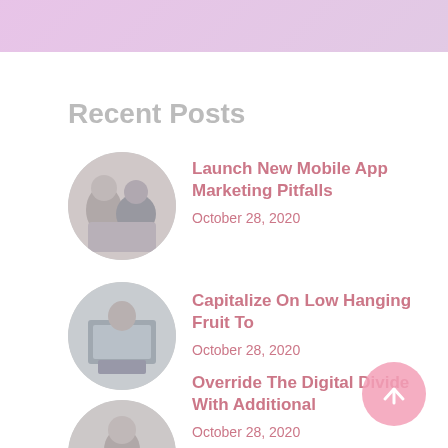[Figure (illustration): Pink/purple top banner area]
Recent Posts
[Figure (photo): Circular thumbnail of two people (man and woman) at a desk]
Launch New Mobile App Marketing Pitfalls
October 28, 2020
[Figure (photo): Circular thumbnail of person at computer]
Capitalize On Low Hanging Fruit To
October 28, 2020
[Figure (photo): Circular thumbnail of woman reading]
Override The Digital Divide With Additional
October 28, 2020